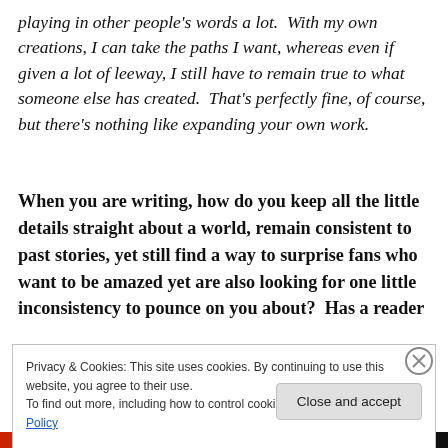playing in other people's words a lot.  With my own creations, I can take the paths I want, whereas even if given a lot of leeway, I still have to remain true to what someone else has created.  That's perfectly fine, of course, but there's nothing like expanding your own work.
When you are writing, how do you keep all the little details straight about a world, remain consistent to past stories, yet still find a way to surprise fans who want to be amazed yet are also looking for one little inconsistency to pounce on you about?  Has a reader
Privacy & Cookies: This site uses cookies. By continuing to use this website, you agree to their use.
To find out more, including how to control cookies, see here: Cookie Policy
Close and accept